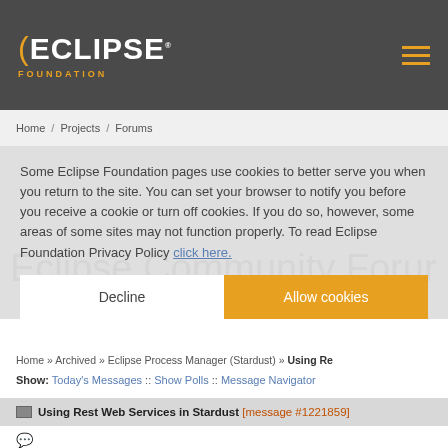ECLIPSE FOUNDATION
Home / Projects / Forums
Some Eclipse Foundation pages use cookies to better serve you when you return to the site. You can set your browser to notify you before you receive a cookie or turn off cookies. If you do so, however, some areas of some sites may not function properly. To read Eclipse Foundation Privacy Policy click here.
Eclipse Community Forum
Home » Archived » Eclipse Process Manager (Stardust) » Using Re
Show: Today's Messages :: Show Polls :: Message Navigator
Using Rest Web Services in Stardust [message #1221859]